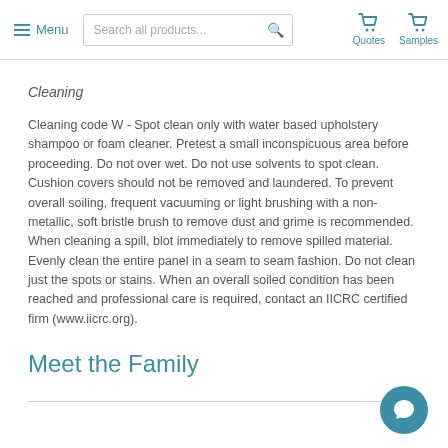Menu | Search all products... | Quotes | Samples
Cleaning
Cleaning code W - Spot clean only with water based upholstery shampoo or foam cleaner. Pretest a small inconspicuous area before proceeding. Do not over wet. Do not use solvents to spot clean. Cushion covers should not be removed and laundered. To prevent overall soiling, frequent vacuuming or light brushing with a non-metallic, soft bristle brush to remove dust and grime is recommended. When cleaning a spill, blot immediately to remove spilled material. Evenly clean the entire panel in a seam to seam fashion. Do not clean just the spots or stains. When an overall soiled condition has been reached and professional care is required, contact an IICRC certified firm (www.iicrc.org).
Meet the Family
[Figure (other): Chat button icon in bottom right corner]